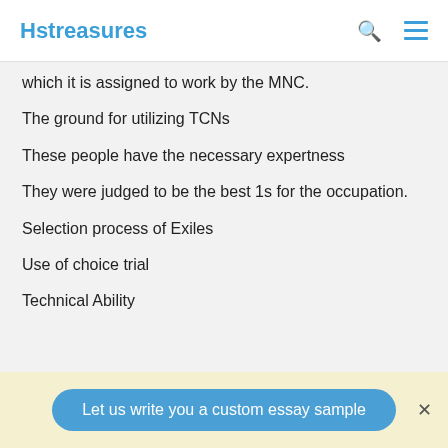Hstreasures
which it is assigned to work by the MNC.
The ground for utilizing TCNs
These people have the necessary expertness
They were judged to be the best 1s for the occupation.
Selection process of Exiles
Use of choice trial
Technical Ability
Let us write you a custom essay sample